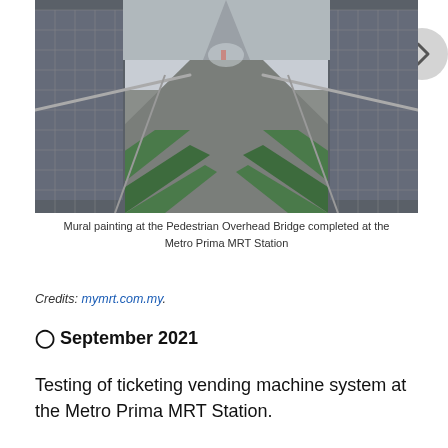[Figure (photo): Interior corridor of a Pedestrian Overhead Bridge with green and grey patterned floor, metal railings and mesh side panels, perspective view looking down the walkway. Metro Prima MRT Station.]
Mural painting at the Pedestrian Overhead Bridge completed at the Metro Prima MRT Station
Credits: mymrt.com.my.
🔘 September 2021
Testing of ticketing vending machine system at the Metro Prima MRT Station.